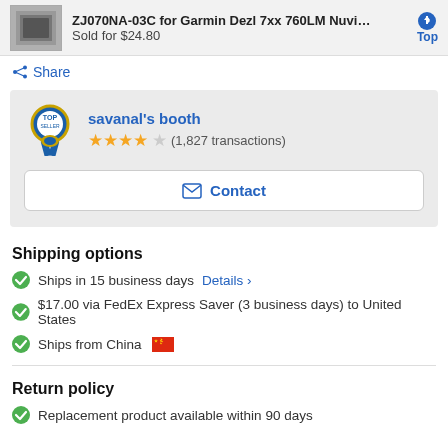ZJ070NA-03C for Garmin Dezl 7xx 760LM Nuvi 27... Sold for $24.80
Share
savanal's booth ★★★★☆ (1,827 transactions)
Contact
Shipping options
Ships in 15 business days Details >
$17.00 via FedEx Express Saver (3 business days) to United States
Ships from China 🇨🇳
Return policy
Replacement product available within 90 days